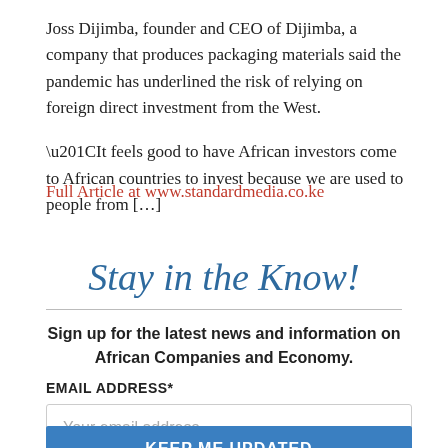Joss Dijimba, founder and CEO of Dijimba, a company that produces packaging materials said the pandemic has underlined the risk of relying on foreign direct investment from the West.
“It feels good to have African investors come to African countries to invest because we are used to people from […]
Full Article at www.standardmedia.co.ke
Stay in the Know!
Sign up for the latest news and information on African Companies and Economy.
EMAIL ADDRESS*
Your email address
KEEP ME UPDATED